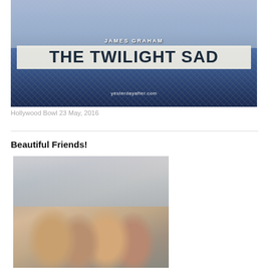[Figure (photo): Photograph showing James Graham and The Twilight Sad at Hollywood Bowl, two people in blue jackets near a chain-link fence, with band name overlay and website yesterdayafter.com]
Hollywood Bowl 23 May, 2016
Beautiful Friends!
[Figure (photo): Group photo of four smiling women outdoors near a building]